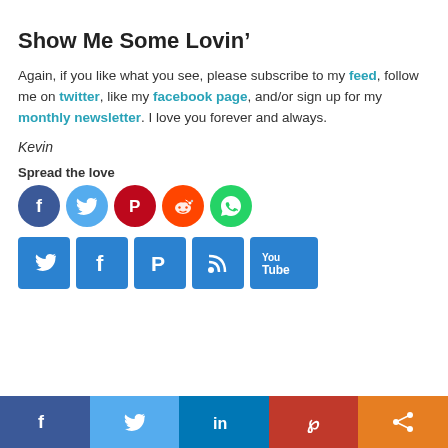Show Me Some Lovin’
Again, if you like what you see, please subscribe to my feed, follow me on twitter, like my facebook page, and/or sign up for my monthly newsletter. I love you forever and always.
Kevin
Spread the love
[Figure (infographic): Row of 5 social media circle icons: Facebook (dark blue), Twitter (light blue), Pinterest (red), Reddit (orange), WhatsApp (green)]
[Figure (infographic): Row of 5 social media square icons: Twitter, Facebook, Pinterest, RSS, YouTube — all blue]
[Figure (infographic): Bottom share bar with Facebook (dark blue), Twitter (light blue), LinkedIn (blue), Pinterest (red), Share (orange)]